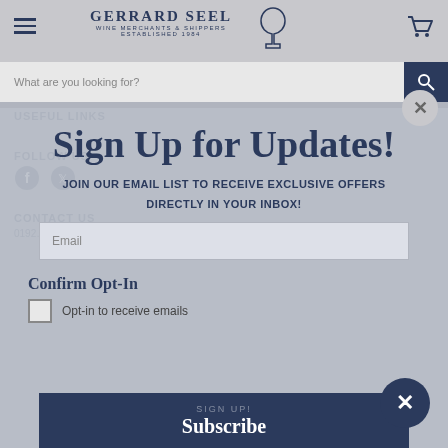[Figure (screenshot): Gerrard Seel Wine Merchants & Shippers website header with logo, hamburger menu, cart icon, and search bar. A modal popup overlays the page showing a 'Sign Up for Updates!' newsletter signup form with email field, opt-in checkbox, and Subscribe button. Background shows USEFUL LINKS, FOLLOW US, CONTACT US sections.]
Sign Up for Updates!
JOIN OUR EMAIL LIST TO RECEIVE EXCLUSIVE OFFERS DIRECTLY IN YOUR INBOX!
Email
Confirm Opt-In
Opt-in to receive emails
SIGN UP!
Subscribe